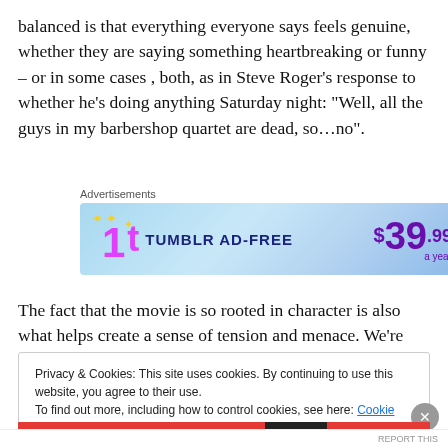balanced is that everything everyone says feels genuine, whether they are saying something heartbreaking or funny – or in some cases , both, as in Steve Roger's response to whether he's doing anything Saturday night:  "Well, all the guys in my barbershop quartet are dead, so…no".
[Figure (other): Tumblr Ad-Free advertisement banner showing $39.99 a year price]
The fact that the movie is so rooted in character is also what helps create a sense of tension and menace.  We're
Privacy & Cookies: This site uses cookies. By continuing to use this website, you agree to their use.
To find out more, including how to control cookies, see here: Cookie Policy